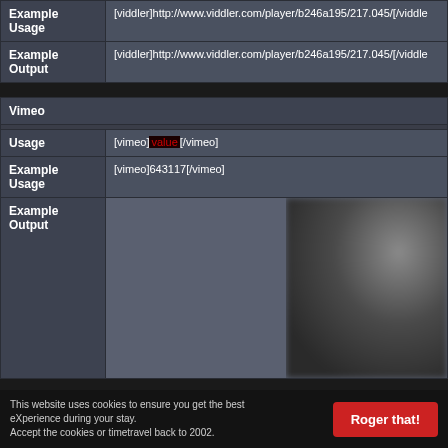|  |  |
| --- | --- |
| Example Usage | [viddler]http://www.viddler.com/player/b246a195/217.045/[/viddle... |
| Example Output | [viddler]http://www.viddler.com/player/b246a195/217.045/[/viddle... |
| Vimeo |  |
| --- | --- |
| Usage | [vimeo]value[/vimeo] |
| Example Usage | [vimeo]643117[/vimeo] |
| Example Output | (video thumbnail) |
This website uses cookies to ensure you get the best eXperience during your stay. Accept the cookies or timetravel back to 2002.
Roger that!